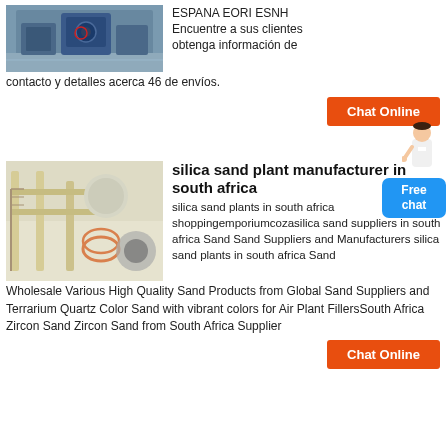[Figure (photo): Industrial blue machinery in a factory setting]
ESPANA EORI ESNH Encuentre a sus clientes obtenga información de contacto y detalles acerca 46 de envíos.
[Figure (other): Orange Chat Online button with a customer service person icon]
[Figure (photo): Silica sand processing plant with yellow metal structures and industrial equipment]
silica sand plant manufacturer in south africa
silica sand plants in south africa shoppingemporiumcozasilica sand suppliers in south africa Sand Sand Suppliers and Manufacturers silica sand plants in south africa Sand Wholesale Various High Quality Sand Products from Global Sand Suppliers and Terrarium Quartz Color Sand with vibrant colors for Air Plant FillersSouth Africa Zircon Sand Zircon Sand from South Africa Supplier
[Figure (other): Orange Chat Online button at bottom]